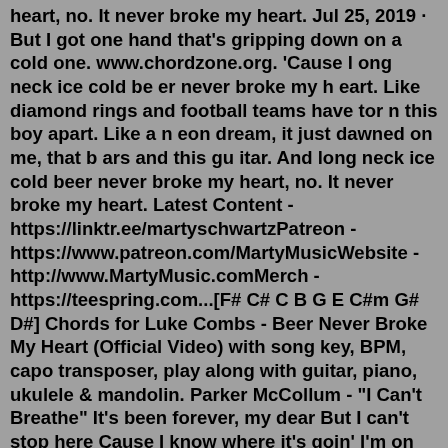heart, no. It never broke my heart. Jul 25, 2019 · But I got one hand that's gripping down on a cold one. www.chordzone.org. 'Cause l ong neck ice cold be er never broke my h eart. Like diamond rings and football teams have tor n this boy apart. Like a n eon dream, it just dawned on me, that b ars and this gu itar. And long neck ice cold beer never broke my heart, no. It never broke my heart. Latest Content - https://linktr.ee/martyschwartzPatreon - https://www.patreon.com/MartyMusicWebsite - http://www.MartyMusic.comMerch - https://teespring.com...[F# C# C B G E C#m G# D#] Chords for Luke Combs - Beer Never Broke My Heart (Official Video) with song key, BPM, capo transposer, play along with guitar, piano, ukulele & mandolin. Parker McCollum - "I Can't Breathe" It's been forever, my dear But I can't stop here Cause I know where it's goin' I'm on the road missin' home Missin' the road while I'm home But baby, I'm goin' With my heart on my sleeve Long nights...Jul 25, 2019 · But I got one hand that's gripping down on a cold